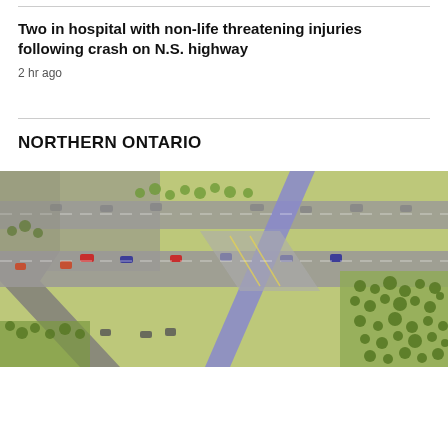Two in hospital with non-life threatening injuries following crash on N.S. highway
2 hr ago
NORTHERN ONTARIO
[Figure (photo): Aerial view of a highway interchange with multiple lanes, vehicles, trees, and a pedestrian/bike path cutting diagonally across, rendered as a 3D architectural visualization or model.]